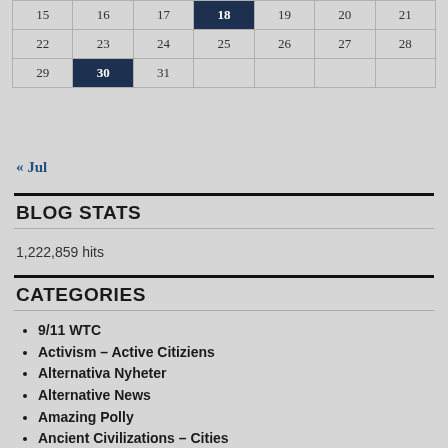| 15 | 16 | 17 | 18 | 19 | 20 | 21 |
| 22 | 23 | 24 | 25 | 26 | 27 | 28 |
| 29 | 30 | 31 |  |  |  |  |
« Jul
BLOG STATS
1,222,859 hits
CATEGORIES
9/11 WTC
Activism – Active Citiziens
Alternativa Nyheter
Alternative News
Amazing Polly
Ancient Civilizations – Cities
Andlighet
Angels